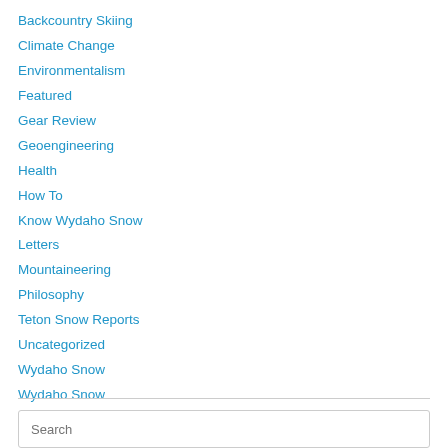Backcountry Skiing
Climate Change
Environmentalism
Featured
Gear Review
Geoengineering
Health
How To
Know Wydaho Snow
Letters
Mountaineering
Philosophy
Teton Snow Reports
Uncategorized
Wydaho Snow
Wydaho Snow
Search